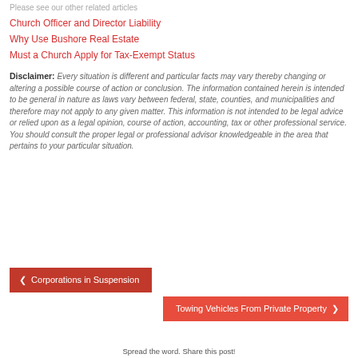Please see our other related articles
Church Officer and Director Liability
Why Use Bushore Real Estate
Must a Church Apply for Tax-Exempt Status
Disclaimer: Every situation is different and particular facts may vary thereby changing or altering a possible course of action or conclusion. The information contained herein is intended to be general in nature as laws vary between federal, state, counties, and municipalities and therefore may not apply to any given matter. This information is not intended to be legal advice or relied upon as a legal opinion, course of action, accounting, tax or other professional service. You should consult the proper legal or professional advisor knowledgeable in the area that pertains to your particular situation.
< Corporations in Suspension
Towing Vehicles From Private Property >
Spread the word. Share this post!